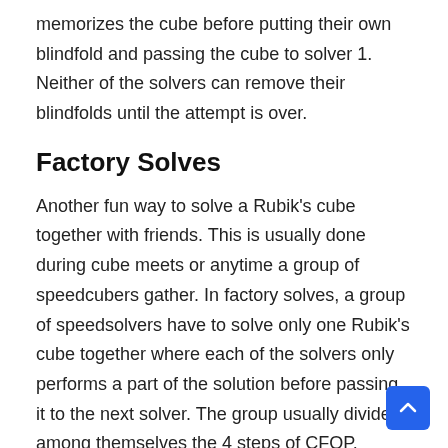memorizes the cube before putting their own blindfold and passing the cube to solver 1. Neither of the solvers can remove their blindfolds until the attempt is over.
Factory Solves
Another fun way to solve a Rubik's cube together with friends. This is usually done during cube meets or anytime a group of speedcubers gather. In factory solves, a group of speedsolvers have to solve only one Rubik's cube together where each of the solvers only performs a part of the solution before passing it to the next solver. The group usually divide among themselves the 4 steps of CFOP. There's is also a version where the F2L part is